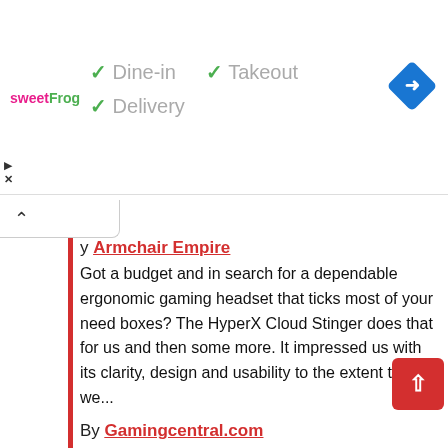[Figure (infographic): Advertisement banner for sweetFrog with checkmarks for Dine-in, Takeout, and Delivery options, plus a blue navigation diamond icon on the right]
y Armchair Empire
Got a budget and in search for a dependable ergonomic gaming headset that ticks most of your need boxes? The HyperX Cloud Stinger does that for us and then some more. It impressed us with its clarity, design and usability to the extent that we...
By Gamingcentral.com
For the price point if offers, the HyperX Cloud Stinger is quite well-balanced, making it a great choice for an entry-level headset. The design and looks off a premium feel and the audio quality is impressiv well. The microphone is...